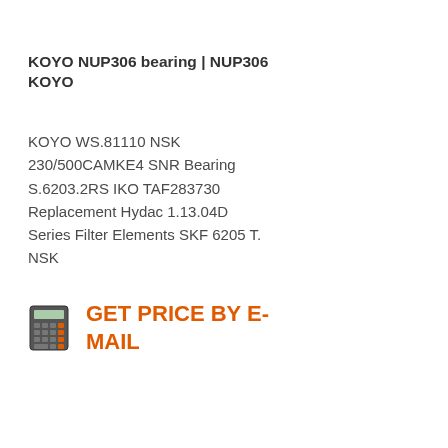KOYO NUP306 bearing | NUP306 KOYO
KOYO WS.81110 NSK 230/500CAMKE4 SNR Bearing S.6203.2RS IKO TAF283730 Replacement Hydac 1.13.04D Series Filter Elements SKF 6205 T. NSK
[Figure (illustration): Calculator icon]
GET PRICE BY E-MAIL